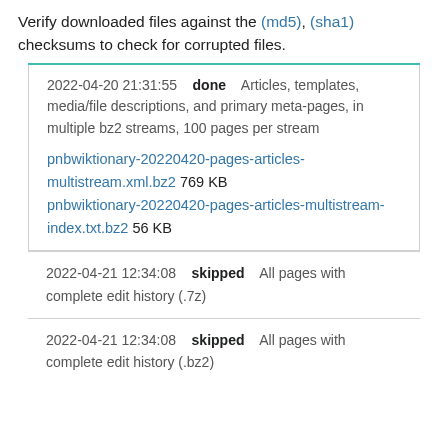Verify downloaded files against the (md5), (sha1) checksums to check for corrupted files.
2022-04-20 21:31:55  done  Articles, templates, media/file descriptions, and primary meta-pages, in multiple bz2 streams, 100 pages per stream
pnbwiktionary-20220420-pages-articles-multistream.xml.bz2 769 KB
pnbwiktionary-20220420-pages-articles-multistream-index.txt.bz2 56 KB
2022-04-21 12:34:08  skipped  All pages with complete edit history (.7z)
2022-04-21 12:34:08  skipped  All pages with complete edit history (.bz2)